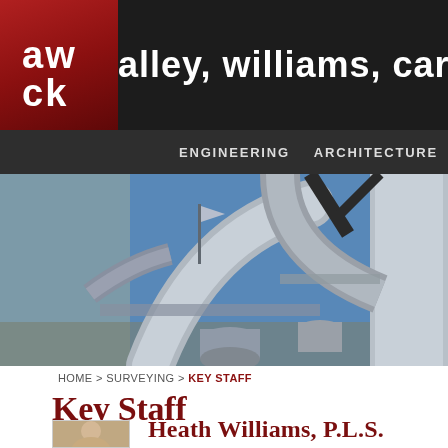aw ek | alley, williams, carm...
[Figure (logo): AWCK logo with red gradient background, white block letters 'aw' and 'ck' in a square tile]
[Figure (photo): Industrial piping and ductwork against a blue sky — gray metallic pipes, tanks, and conduits at a facility]
HOME > SURVEYING > KEY STAFF
Key Staff
Heath Williams, P.L.S.